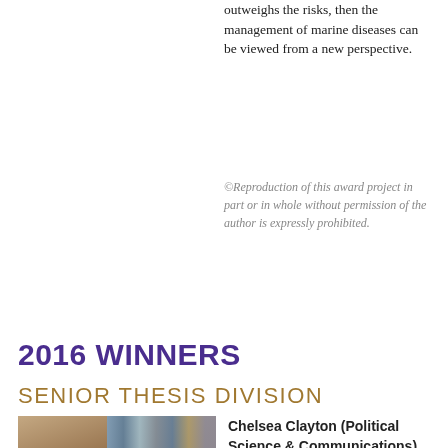outweighs the risks, then the management of marine diseases can be viewed from a new perspective.
©Reproduction of this award project in part or in whole without permission of the author is expressly prohibited.
2016 WINNERS
SENIOR THESIS DIVISION
[Figure (photo): Photo of Chelsea Clayton, a woman with dark hair, standing in front of a bookshelf, wearing a black outfit with a name tag.]
Chelsea Clayton (Political Science & Communications)
Faculty Advisor: Mark Smith
The Forest for the Trees: A Comparative Analysis of Urban Forestry Regimes in Seattle, Washington and